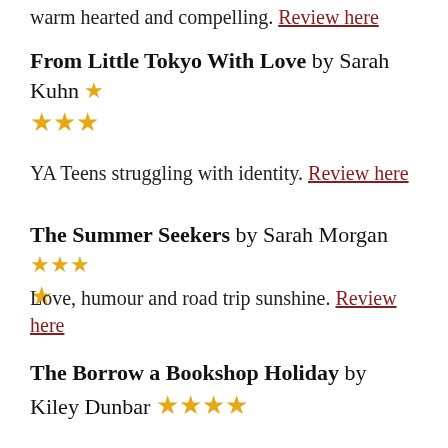warm hearted and compelling. Review here
From Little Tokyo With Love by Sarah Kuhn ★★★
YA Teens struggling with identity. Review here
The Summer Seekers by Sarah Morgan ★★★★
Love, humour and road trip sunshine. Review here
The Borrow a Bookshop Holiday by Kiley Dunbar ★★★★